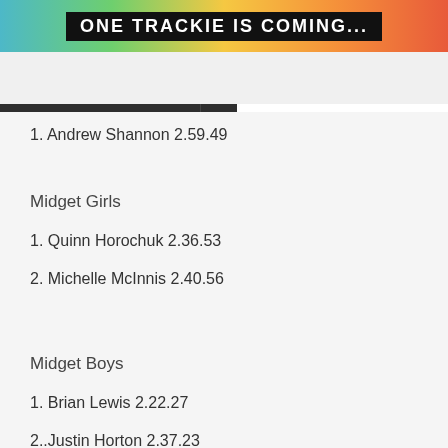ONE TRACKIE IS COMING...
trackie.ca  Login | Contact
1. Andrew Shannon 2.59.49
Midget Girls
1. Quinn Horochuk 2.36.53
2. Michelle McInnis 2.40.56
Midget Boys
1. Brian Lewis 2.22.27
2..Justin Horton 2.37.23